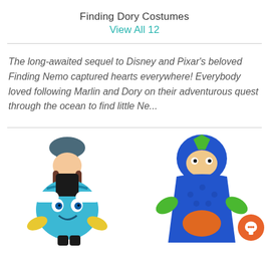Finding Dory Costumes
View All 12
The long-awaited sequel to Disney and Pixar's beloved Finding Nemo captured hearts everywhere! Everybody loved following Marlin and Dory on their adventurous quest through the ocean to find little Ne...
[Figure (photo): Two children wearing Finding Dory costumes. Left child in a blue Dory fish costume with black hat. Right child in a blue Hank fish/cape costume with orange accents.]